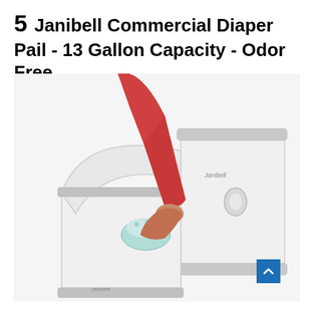5   Janibell Commercial Diaper Pail - 13 Gallon Capacity - Odor Free
[Figure (photo): Photo of a Janibell commercial diaper pail. Shows a person wearing a red long-sleeve shirt dropping a diaper into an open white diaper pail. A second closed white Janibell pail is shown beside it. Both pails have gray trim. A number 5 badge appears in a dark navy blue box at the top left of the image frame.]